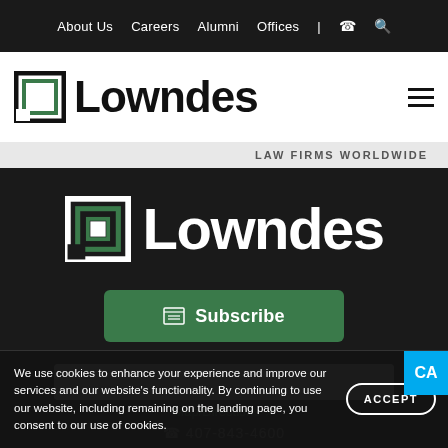About Us  Careers  Alumni  Offices  |  📞  🔍
[Figure (logo): Lowndes law firm logo with green square bracket icon and bold black Lowndes text]
LAW FIRMS WORLDWIDE
[Figure (logo): Lowndes law firm logo large white version on dark background]
Subscribe
Map/Directions
407-843-4600
We use cookies to enhance your experience and improve our services and our website's functionality. By continuing to use our website, including remaining on the landing page, you consent to our use of cookies.
ACCEPT